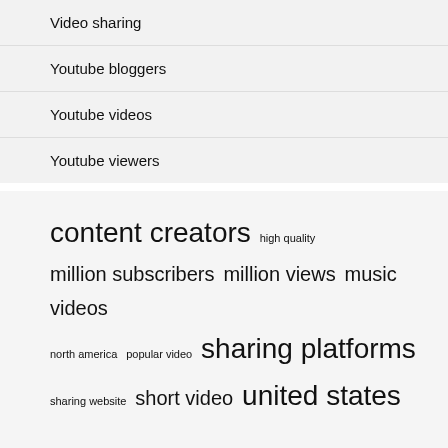Video sharing
Youtube bloggers
Youtube videos
Youtube viewers
content creators  high quality  million subscribers  million views  music videos  north america  popular video  sharing platforms  sharing website  short video  united states  video content  video sharing  videos time  watching videos